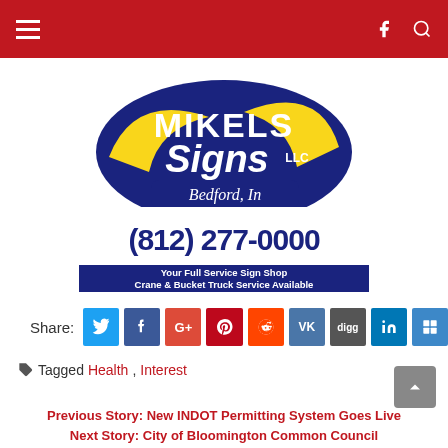Navigation header with hamburger menu, Facebook and search icons
[Figure (logo): Mikels Signs LLC advertisement logo with phone number (812) 277-0000 and tagline 'Your Full Service Sign Shop, Crane & Bucket Truck Service Available', Bedford, In]
Share: [Twitter] [Facebook] [Google+] [Pinterest] [Reddit] [VK] [Digg] [LinkedIn] [Delicious]
Tagged Health, Interest
Previous Story: New INDOT Permitting System Goes Live
Next Story: City of Bloomington Common Council